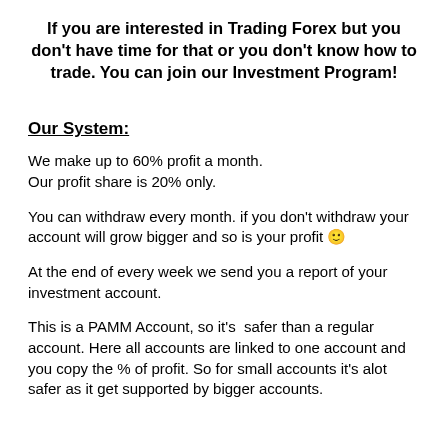If you are interested in Trading Forex but you don't have time for that or you don't know how to trade. You can join our Investment Program!
Our System:
We make up to 60% profit a month.
Our profit share is 20% only.
You can withdraw every month. if you don't withdraw your account will grow bigger and so is your profit 🙂
At the end of every week we send you a report of your investment account.
This is a PAMM Account, so it's safer than a regular account. Here all accounts are linked to one account and you copy the % of profit. So for small accounts it's alot safer as it get supported by bigger accounts.